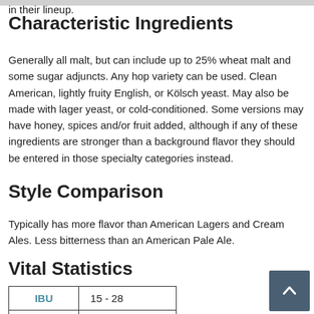in their lineup.
Characteristic Ingredients
Generally all malt, but can include up to 25% wheat malt and some sugar adjuncts. Any hop variety can be used. Clean American, lightly fruity English, or Kölsch yeast. May also be made with lager yeast, or cold-conditioned. Some versions may have honey, spices and/or fruit added, although if any of these ingredients are stronger than a background flavor they should be entered in those specialty categories instead.
Style Comparison
Typically has more flavor than American Lagers and Cream Ales. Less bitterness than an American Pale Ale.
Vital Statistics
| IBU |  |
| --- | --- |
| IBU | 15 - 28 |
| SRM |  |